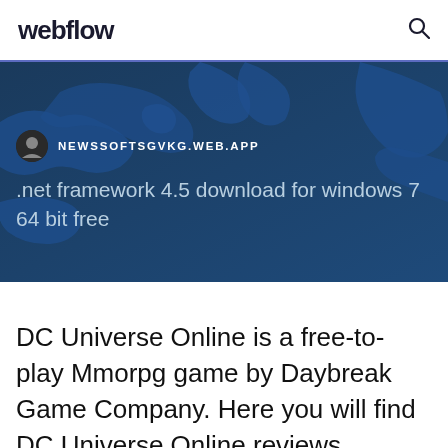webflow
[Figure (screenshot): Blue map background hero banner with site badge showing 'NEWSSOFTSGVKG.WEB.APP' and title '.net framework 4.5 download for windows 7 64 bit free']
DC Universe Online is a free-to-play Mmorpg game by Daybreak Game Company. Here you will find DC Universe Online reviews, guides, cheats, videos, screenshots, news,